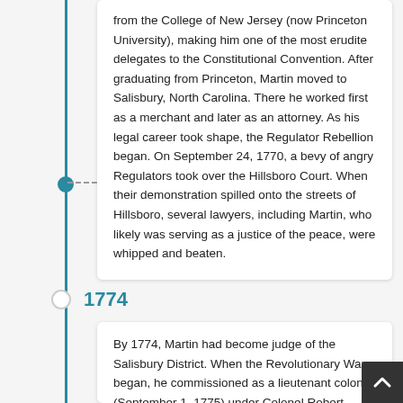from the College of New Jersey (now Princeton University), making him one of the most erudite delegates to the Constitutional Convention. After graduating from Princeton, Martin moved to Salisbury, North Carolina. There he worked first as a merchant and later as an attorney. As his legal career took shape, the Regulator Rebellion began. On September 24, 1770, a bevy of angry Regulators took over the Hillsboro Court. When their demonstration spilled onto the streets of Hillsboro, several lawyers, including Martin, who likely was serving as a justice of the peace, were whipped and beaten.
1774
By 1774, Martin had become judge of the Salisbury District. When the Revolutionary War began, he commissioned as a lieutenant colonel (September 1, 1775) under Colonel Robert Howe and was promoted to colonel